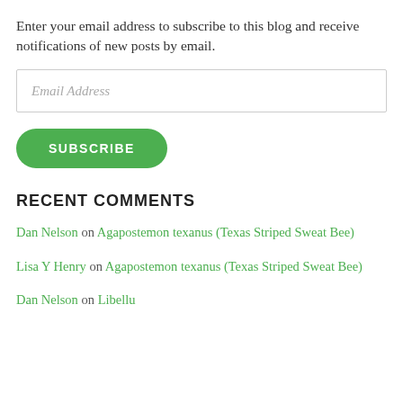Enter your email address to subscribe to this blog and receive notifications of new posts by email.
[Figure (other): Email Address input field with placeholder text]
[Figure (other): Green SUBSCRIBE button with rounded corners]
RECENT COMMENTS
Dan Nelson on Agapostemon texanus (Texas Striped Sweat Bee)
Lisa Y Henry on Agapostemon texanus (Texas Striped Sweat Bee)
Dan Nelson on Libellu... (truncated/partial)